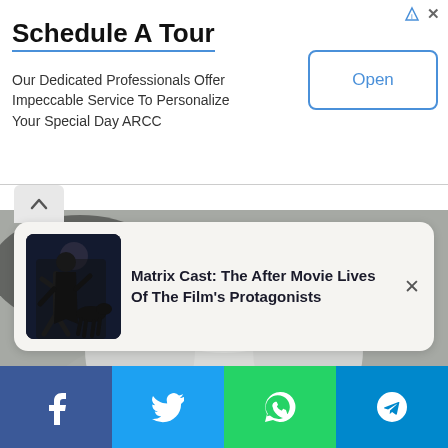[Figure (screenshot): Advertisement banner: Schedule A Tour with Open button]
Schedule A Tour
Our Dedicated Professionals Offer Impeccable Service To Personalize Your Special Day ARCC
[Figure (screenshot): Notification card: Matrix Cast: The After Movie Lives Of The Film's Protagonists with thumbnail image of Matrix character]
Matrix Cast: The After Movie Lives Of The Film's Protagonists
[Figure (photo): Close-up photo of an elderly smiling woman with white hair, wearing white jacket, red lipstick, gold earrings and a heart pendant necklace]
[Figure (screenshot): Social sharing bar with Facebook, Twitter, WhatsApp, and Telegram buttons]